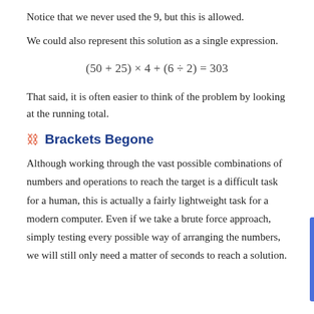Notice that we never used the 9, but this is allowed.
We could also represent this solution as a single expression.
That said, it is often easier to think of the problem by looking at the running total.
Brackets Begone
Although working through the vast possible combinations of numbers and operations to reach the target is a difficult task for a human, this is actually a fairly lightweight task for a modern computer. Even if we take a brute force approach, simply testing every possible way of arranging the numbers, we will still only need a matter of seconds to reach a solution.